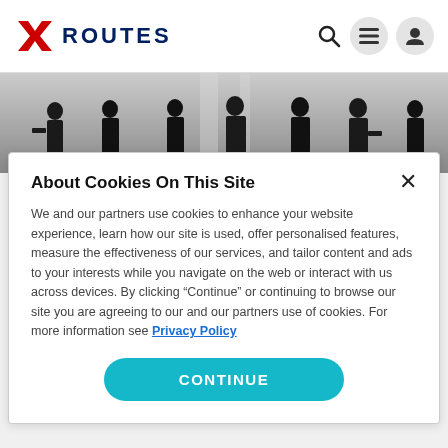[Figure (logo): Routes logo with red arrow/envelope icon and dark blue ROUTES text]
[Figure (photo): Background photo showing silhouettes of people in suits standing in a row]
About Cookies On This Site
We and our partners use cookies to enhance your website experience, learn how our site is used, offer personalised features, measure the effectiveness of our services, and tailor content and ads to your interests while you navigate on the web or interact with us across devices. By clicking "Continue" or continuing to browse our site you are agreeing to our and our partners use of cookies. For more information see Privacy Policy
CONTINUE